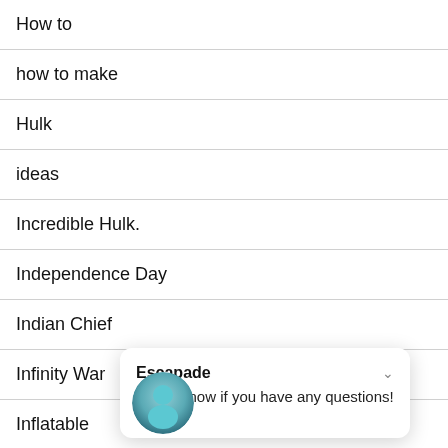How to
how to make
Hulk
ideas
Incredible Hulk.
Independence Day
Indian Chief
Infinity War
Inflatable
[Figure (screenshot): Chat popup from 'Escapade' with message 'Let us know if you have any questions!' and a smiley face emoji, with a circular avatar icon partially visible.]